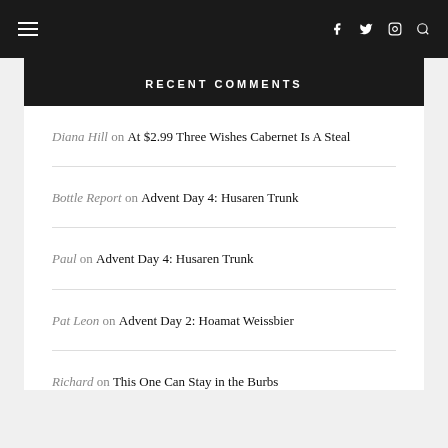≡  f  twitter  instagram  🔍
RECENT COMMENTS
Diana Hill on At $2.99 Three Wishes Cabernet Is A Steal
Bottle Report on Advent Day 4: Husaren Trunk
Paul on Advent Day 4: Husaren Trunk
Pat Leon on Advent Day 2: Hoamat Weissbier
Richard on This One Can Stay in the Burbs